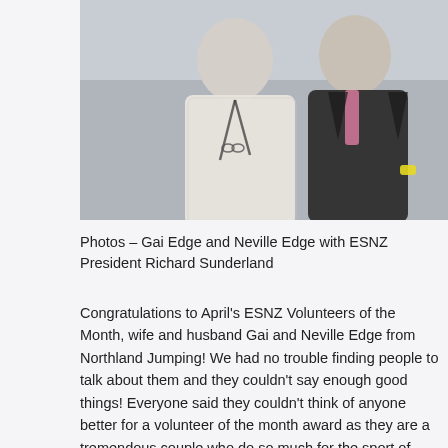[Figure (photo): Photo of two men, one in a light patterned shirt with a lanyard and glasses, and another in a dark suit with a pink tie and a yellow wristband, posing together outdoors.]
Photos – Gai Edge and Neville Edge with ESNZ President Richard Sunderland
Congratulations to April's ESNZ Volunteers of the Month, wife and husband Gai and Neville Edge from Northland Jumping! We had no trouble finding people to talk about them and they couldn't say enough good things! Everyone said they couldn't think of anyone better for a volunteer of the month award as they are a tremendous couple who do so much for the sport of Jumping.